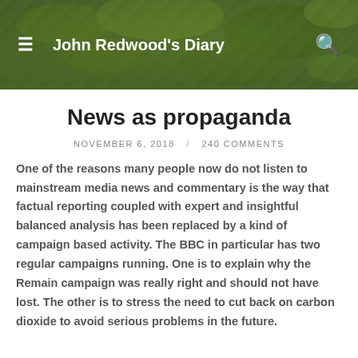John Redwood's Diary
News as propaganda
NOVEMBER 6, 2018  /  240 COMMENTS
One of the reasons many people now do not listen to mainstream media news and commentary is the way that factual reporting coupled with expert and insightful balanced analysis has been replaced by a kind of campaign based activity. The BBC in particular has two regular campaigns running. One is to explain why the Remain campaign was really right and should not have lost. The other is to stress the need to cut back on carbon dioxide to avoid serious problems in the future.